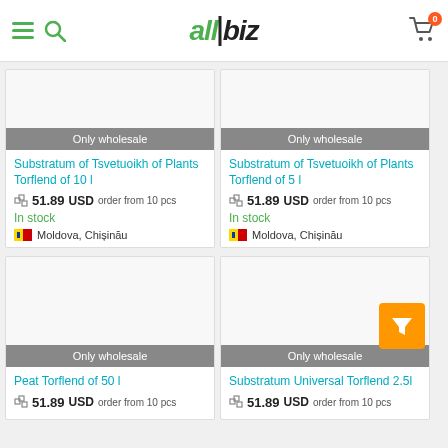allbiz
[Figure (screenshot): Product card: Substratum of Tsvetuoikh of Plants Torflend of 10 l — Only wholesale, 51.89 USD order from 10 pcs, In stock, Moldova Chisinau]
[Figure (screenshot): Product card: Substratum of Tsvetuoikh of Plants Torflend of 5 l — Only wholesale, 51.89 USD order from 10 pcs, In stock, Moldova Chisinau]
[Figure (screenshot): Product card: Peat Torflend of 50 l — Only wholesale, 51.89 USD order from 10 pcs]
[Figure (screenshot): Product card: Substratum Universal Torflend 2.5l — Only wholesale, 51.89 USD order from 10 pcs]